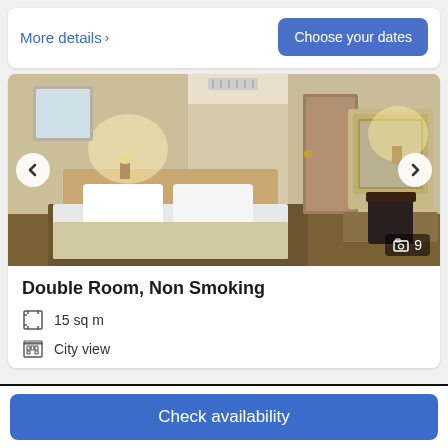More details >
Choose your dates
[Figure (photo): Hotel double room interior with a double bed with white pillows, wooden headboard, wall-mounted lamps, mirror with dresser on the right, and a door in the background. Navigation arrows on sides. Photo count badge showing 9.]
Double Room, Non Smoking
15 sq m
City view
Check availability